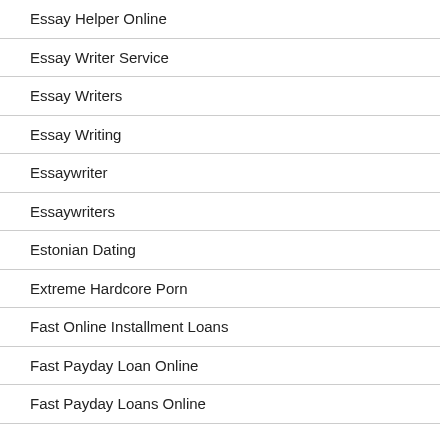Essay Helper Online
Essay Writer Service
Essay Writers
Essay Writing
Essaywriter
Essaywriters
Estonian Dating
Extreme Hardcore Porn
Fast Online Installment Loans
Fast Payday Loan Online
Fast Payday Loans Online